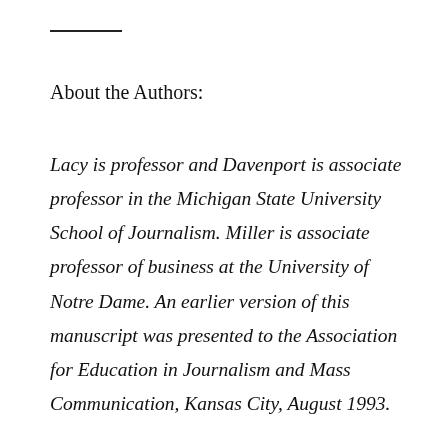About the Authors:
Lacy is professor and Davenport is associate professor in the Michigan State University School of Journalism. Miller is associate professor of business at the University of Notre Dame. An earlier version of this manuscript was presented to the Association for Education in Journalism and Mass Communication, Kansas City, August 1993.